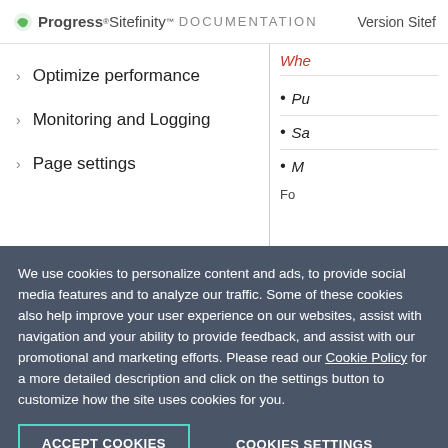Progress Sitefinity DOCUMENTATION Version Sitef
Optimize performance
Monitoring and Logging
Page settings
Whe...
Pu...
Sa...
M...
Fo...
We use cookies to personalize content and ads, to provide social media features and to analyze our traffic. Some of these cookies also help improve your user experience on our websites, assist with navigation and your ability to provide feedback, and assist with our promotional and marketing efforts. Please read our Cookie Policy for a more detailed description and click on the settings button to customize how the site uses cookies for you.
ACCEPT COOKIES
COOKIES SETTINGS